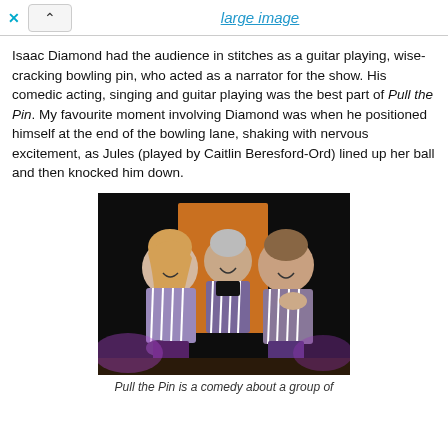large image
Isaac Diamond had the audience in stitches as a guitar playing, wise-cracking bowling pin, who acted as a narrator for the show. His comedic acting, singing and guitar playing was the best part of Pull the Pin. My favourite moment involving Diamond was when he positioned himself at the end of the bowling lane, shaking with nervous excitement, as Jules (played by Caitlin Beresford-Ord) lined up her ball and then knocked him down.
[Figure (photo): Three women in striped purple/white outfits sitting together laughing on stage with a dark background and orange set piece]
Pull the Pin is a comedy about a group of